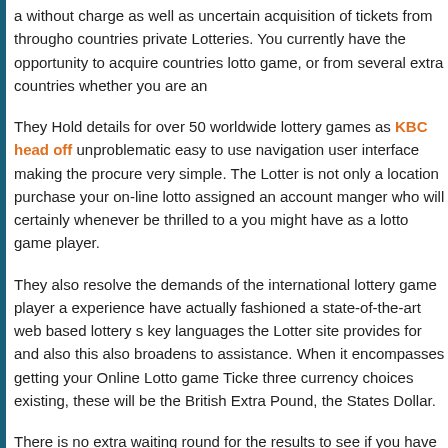a without charge as well as uncertain acquisition of tickets from throughout countries private Lotteries. You currently have the opportunity to acquire countries lotto game, or from several extra countries whether you are an
They Hold details for over 50 worldwide lottery games as KBC head off unproblematic easy to use navigation user interface making the procure very simple. The Lotter is not only a location purchase your on-line lotto assigned an account manger who will certainly whenever be thrilled to a you might have as a lotto game player.
They also resolve the demands of the international lottery game player a experience have actually fashioned a state-of-the-art web based lottery s key languages the Lotter site provides for and also this also broadens to assistance. When it encompasses getting your Online Lotto game Ticke three currency choices existing, these will be the British Extra Pound, the States Dollar.
There is no extra waiting round for the results to see if you have a masse tickets benefit has a total email solution that dispatches you the result of immediately.
When you selected your Online Lotto game Tickets you will be immediat available lotto draw of your selection.